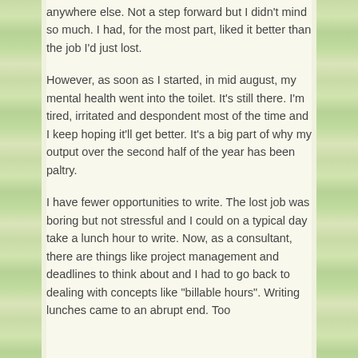anywhere else. Not a step forward but I didn't mind so much. I had, for the most part, liked it better than the job I'd just lost.
However, as soon as I started, in mid august, my mental health went into the toilet. It's still there. I'm tired, irritated and despondent most of the time and I keep hoping it'll get better. It's a big part of why my output over the second half of the year has been paltry.
I have fewer opportunities to write. The lost job was boring but not stressful and I could on a typical day take a lunch hour to write. Now, as a consultant, there are things like project management and deadlines to think about and I had to go back to dealing with concepts like "billable hours". Writing lunches came to an abrupt end. Too